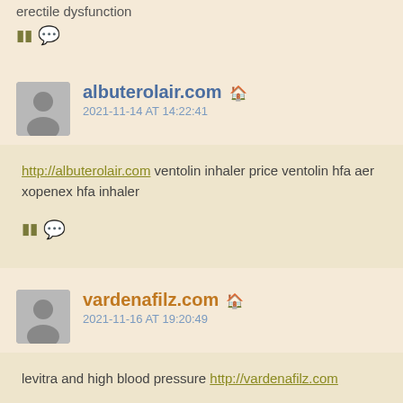erectile dysfunction
🗨 💬
albuterolair.com 🏠 2021-11-14 AT 14:22:41
http://albuterolair.com ventolin inhaler price ventolin hfa aer xopenex hfa inhaler
🗨 💬
vardenafilz.com 🏠 2021-11-16 AT 19:20:49
levitra and high blood pressure http://vardenafilz.com
🗨 💬